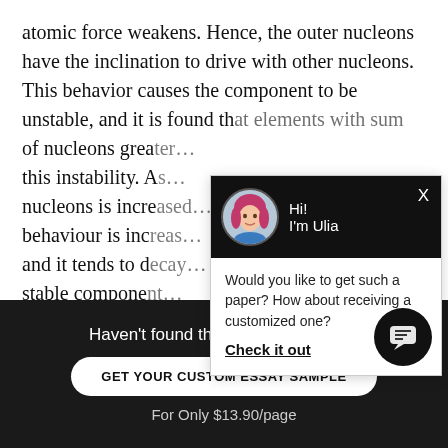atomic force weakens. Hence, the outer nucleons have the inclination to drive with other nucleons. This behavior causes the component to be unstable, and it is found that elements with sum of nucleons grea[ter than 209 exhibit] this instability. A[s the number of] nucleons is incre[ased, the nuclear] behaviour is inc[reasingly unstable] and it tends to d[ecay back to a more] stable compone[nt by emitting] beta and gamma[...]
[Figure (screenshot): Chat popup widget with avatar photo of a woman with pink/red hair, greeting 'Hi! I'm Ulia', and message 'Would you like to get such a paper? How about receiving a customized one?' with a 'Check it out' link.]
Haven't found the Essay You Want?
GET YOUR CUSTOM ESSAY SAMPLE
For Only $13.90/page